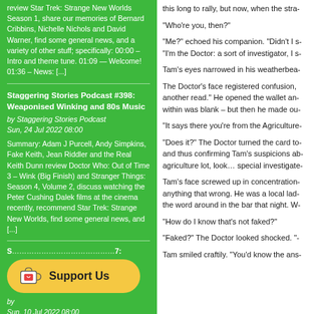review Star Trek: Strange New Worlds Season 1, share our memories of Bernard Cribbins, Nichelle Nichols and David Warner, find some general news, and a variety of other stuff; specifically: 00:00 – Intro and theme tune. 01:09 — Welcome! 01:36 – News: [...]
Staggering Stories Podcast #398: Weaponised Winking and 80s Music
by Staggering Stories Podcast
Sun, 24 Jul 2022 08:00
Summary: Adam J Purcell, Andy Simpkins, Fake Keith, Jean Riddler and the Real Keith Dunn review Doctor Who: Out of Time 3 – Wink (Big Finish) and Stranger Things: Season 4, Volume 2, discuss watching the Peter Cushing Dalek films at the cinema recently, recommend Star Trek: Strange New Worlds, find some general news, and [...]
[Figure (other): Support Us button with Ko-fi cup icon on yellow/orange rounded rectangle background]
Sun, 10 Jul 2022 08:00
this long to rally, but now, when the stra-
“Who’re you, then?”
“Me?” echoed his companion. “Didn’t I s- “I’m the Doctor: a sort of investigator, I s-
Tam’s eyes narrowed in his weatherbea-
The Doctor’s face registered confusion, another read.” He opened the wallet an- within was blank – but then he made ou-
“It says there you’re from the Agriculture-
“Does it?” The Doctor turned the card to- and thus confirming Tam’s suspicions ab- agriculture lot, look… special investigate-
Tam’s face screwed up in concentration- anything that wrong. He was a local lad- the word around in the bar that night. W-
“How do I know that’s not faked?”
“Faked?” The Doctor looked shocked. “-
Tam smiled craftily. “You’d know the ans-